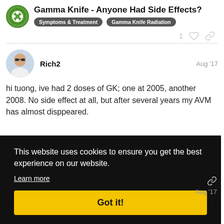Gamma Knife - Anyone Had Side Effects?
Symptoms & Treatment  Gamma Knife Radiation
1
Rich2  Aug '17
hi tuong, ive had 2 doses of GK; one at 2005, another 2008. No side effect at all, but after several years my AVM has almost disppeared.
This website uses cookies to ensure you get the best experience on our website.
Learn more
Got it!